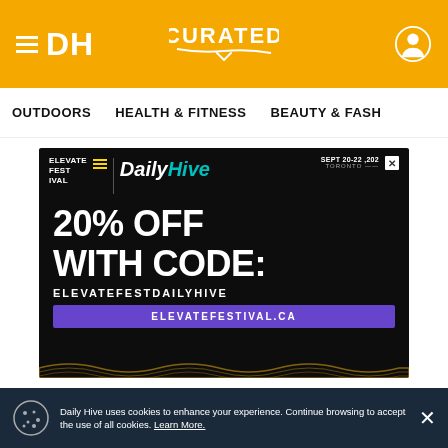DH | CURATED
OUTDOORS | HEALTH & FITNESS | BEAUTY & FASH
[Figure (advertisement): Elevate Festival ad with Daily Hive branding. Dark background with text: 20% OFF WITH CODE: ELEVATEFESTDAILYHIVE. Button: ELEVATEFESTIVAL.CA. Date: SEPT 20-22 2022 TORONTO. Wave decoration at bottom.]
Daily Hive uses cookies to enhance your experience. Continue browsing to accept the use of all cookies. Learn More.